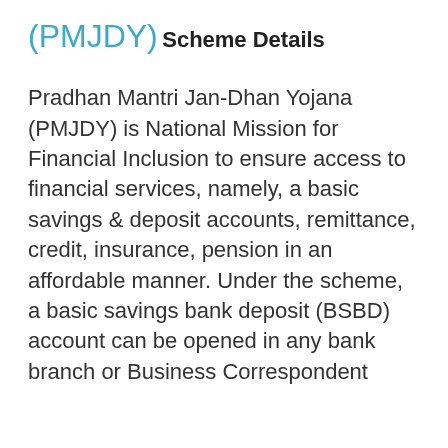(PMJDY)
Scheme Details
Pradhan Mantri Jan-Dhan Yojana (PMJDY) is National Mission for Financial Inclusion to ensure access to financial services, namely, a basic savings & deposit accounts, remittance, credit, insurance, pension in an affordable manner. Under the scheme, a basic savings bank deposit (BSBD) account can be opened in any bank branch or Business Correspondent